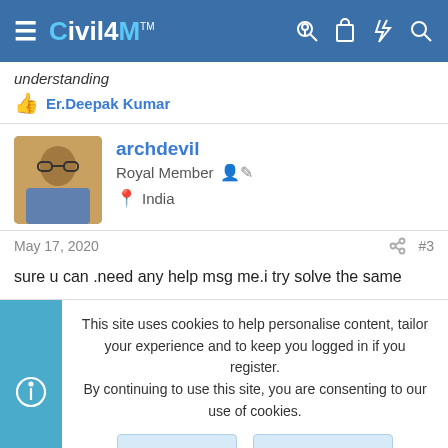Civil4M
understanding
Er.Deepak Kumar
archdevil
Royal Member
India
May 17, 2020  #3
sure u can .need any help msg me.i try solve the same
This site uses cookies to help personalise content, tailor your experience and to keep you logged in if you register.
By continuing to use this site, you are consenting to our use of cookies.